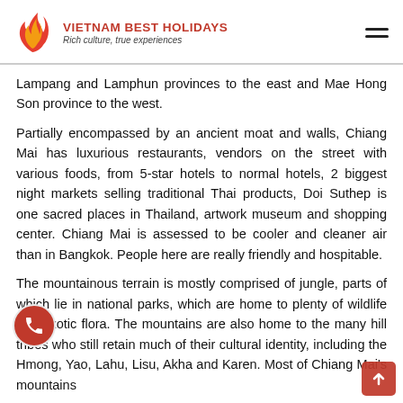VIETNAM BEST HOLIDAYS — Rich culture, true experiences
Lampang and Lamphun provinces to the east and Mae Hong Son province to the west.
Partially encompassed by an ancient moat and walls, Chiang Mai has luxurious restaurants, vendors on the street with various foods, from 5-star hotels to normal hotels, 2 biggest night markets selling traditional Thai products, Doi Suthep is one sacred places in Thailand, artwork museum and shopping center. Chiang Mai is assessed to be cooler and cleaner air than in Bangkok. People here are really friendly and hospitable.
The mountainous terrain is mostly comprised of jungle, parts of which lie in national parks, which are home to plenty of wildlife and exotic flora. The mountains are also home to the many hill tribes who still retain much of their cultural identity, including the Hmong, Yao, Lahu, Lisu, Akha and Karen. Most of Chiang Mai's mountains